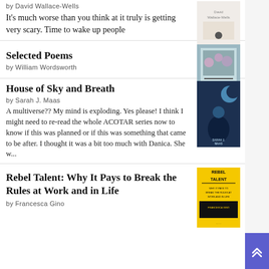by David Wallace-Wells
It's much worse than you think at it truly is getting very scary. Time to wake up people
[Figure (illustration): Book cover thumbnail - The Uninhabitable Earth by David Wallace-Wells, white cover]
Selected Poems
by William Wordsworth
[Figure (illustration): Book cover thumbnail - Selected Poems by William Wordsworth, floral cover]
House of Sky and Breath
by Sarah J. Maas
A multiverse?? My mind is exploding. Yes please! I think I might need to re-read the whole ACOTAR series now to know if this was planned or if this was something that came to be after. I thought it was a bit too much with Danica. She w...
[Figure (illustration): Book cover thumbnail - House of Sky and Breath by Sarah J. Maas, dark blue/teal cover with crescent moon figure]
Rebel Talent: Why It Pays to Break the Rules at Work and in Life
by Francesca Gino
[Figure (illustration): Book cover thumbnail - Rebel Talent by Francesca Gino, yellow and black cover]